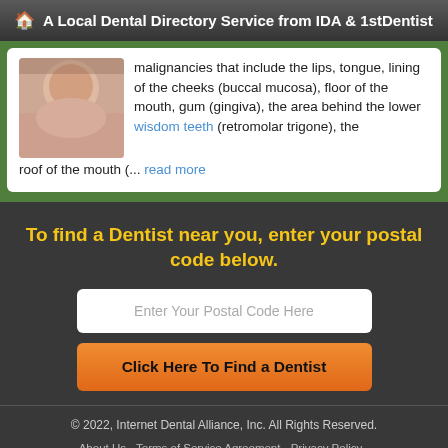A Local Dental Directory Service from IDA & 1stDentist
malignancies that include the lips, tongue, lining of the cheeks (buccal mucosa), floor of the mouth, gum (gingiva), the area behind the lower wisdom teeth (retromolar trigone), the roof of the mouth (... read more
To find a Dentist near you, enter your postal code below.
Enter Your Postal Code Here
Click Here To Find a Dentist
© 2022, Internet Dental Alliance, Inc. All Rights Reserved. About Us - Terms of Service Agreement - Privacy Policy - Accessibility Statement - Doctor Registration